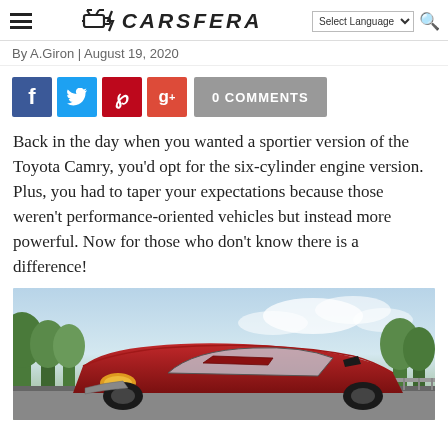CARSFERA
By A.Giron | August 19, 2020
[Figure (infographic): Social sharing buttons: Facebook, Twitter, Pinterest, Google+, and 0 COMMENTS button]
Back in the day when you wanted a sportier version of the Toyota Camry, you'd opt for the six-cylinder engine version. Plus, you had to taper your expectations because those weren't performance-oriented vehicles but instead more powerful. Now for those who don't know there is a difference!
[Figure (photo): Red Toyota Camry TRD parked on a road with trees and a dramatic sky in the background]